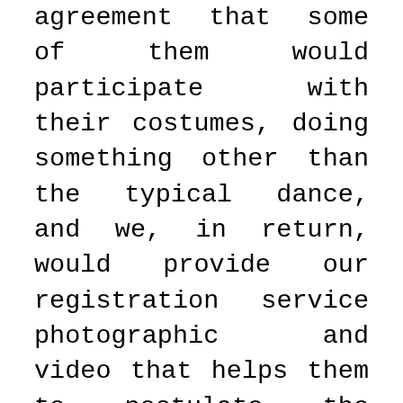agreement that some of them would participate with their costumes, doing something other than the typical dance, and we, in return, would provide our registration service photographic and video that helps them to postulate the dance of the devils of Huancabamba as Cultural Heritage of the Nation before the Ministry, and they obtained it later. That is, there were dynamics beyond the film in any case. But that remains there, the film tries to fiction to achieve something else, to find a new